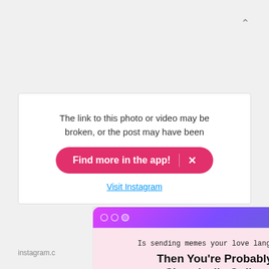The link to this photo or video may be broken, or the post may have been
[Figure (screenshot): Pink pill-shaped button reading 'Find more in the app!' with an X on the right side]
Visit Instagram
[Figure (screenshot): Modal popup with gradient header (purple/pink), dots and X close button. Body on pink background reading: 'Is sending memes your love language? Then You're Probably Chronically Online Join Us 👇' with an email address input, 'Sign Me Up!' dark navy button, and 'No Thanks' underlined link.]